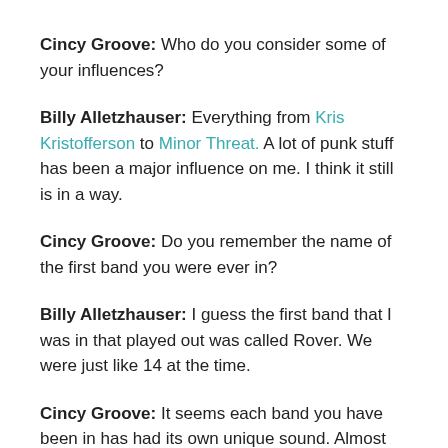Cincy Groove: Who do you consider some of your influences?
Billy Alletzhauser: Everything from Kris Kristofferson to Minor Threat. A lot of punk stuff has been a major influence on me. I think it still is in a way.
Cincy Groove: Do you remember the name of the first band you were ever in?
Billy Alletzhauser: I guess the first band that I was in that played out was called Rover. We were just like 14 at the time.
Cincy Groove: It seems each band you have been in has had its own unique sound. Almost each was in a different genre.